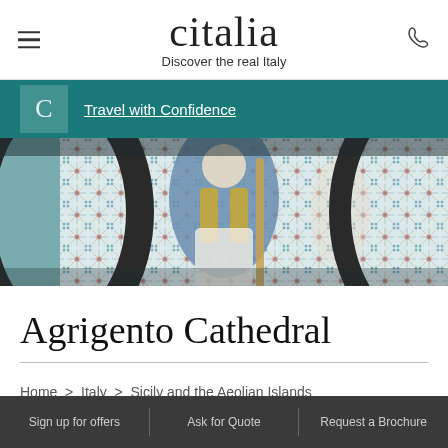citalia — Discover the real Italy
Travel with Confidence
[Figure (photo): Decorative mosaic tile pattern with a figure in blue robe, framed by a dark arch]
Agrigento Cathedral
Home > Italy > Sicily and the Aeolian Islands > Agrigento >
Sign up for offers | Ask for Quote | Request a Brochure